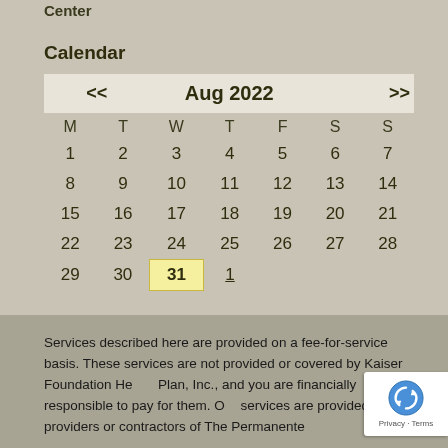Center
Calendar
| << | Aug 2022 | >> |
| --- | --- | --- |
| M | T | W | T | F | S | S |
| 1 | 2 | 3 | 4 | 5 | 6 | 7 |
| 8 | 9 | 10 | 11 | 12 | 13 | 14 |
| 15 | 16 | 17 | 18 | 19 | 20 | 21 |
| 22 | 23 | 24 | 25 | 26 | 27 | 28 |
| 29 | 30 | 31 | 1 |  |  |  |
Services described here are provided on a fee-for-service basis. These services are not provided or covered by Kaiser Foundation Health Plan, Inc., and you are financially responsible to pay for them. These services are provided by providers or contractors of The Permanente